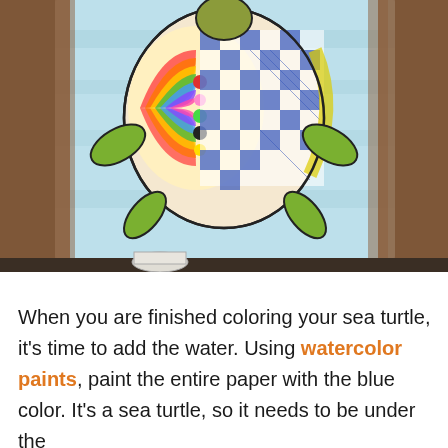[Figure (photo): A photograph of a hand-drawn and colored sea turtle artwork on white paper, placed on a dark wooden surface. The turtle's shell is decorated with colorful patterns including rainbow stripes, dots, and a blue checkerboard pattern. The turtle's flippers are colored green. The background of the drawing features light blue watercolor wash.]
When you are finished coloring your sea turtle, it's time to add the water. Using watercolor paints, paint the entire paper with the blue color. It's a sea turtle, so it needs to be under the